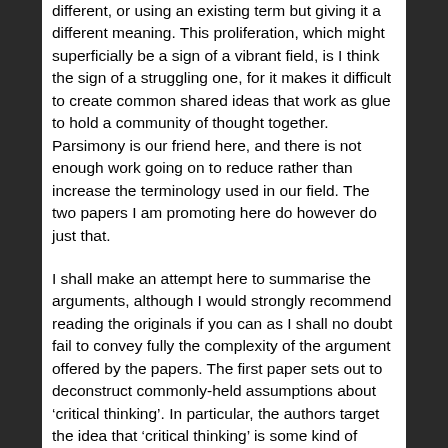different, or using an existing term but giving it a different meaning. This proliferation, which might superficially be a sign of a vibrant field, is I think the sign of a struggling one, for it makes it difficult to create common shared ideas that work as glue to hold a community of thought together. Parsimony is our friend here, and there is not enough work going on to reduce rather than increase the terminology used in our field. The two papers I am promoting here do however do just that.
I shall make an attempt here to summarise the arguments, although I would strongly recommend reading the originals if you can as I shall no doubt fail to convey fully the complexity of the argument offered by the papers. The first paper sets out to deconstruct commonly-held assumptions about 'critical thinking'. In particular, the authors target the idea that 'critical thinking' is some kind of generic skill, challenging the notion that "generic operations that can be learned in themselves, apart from any particular knowledge